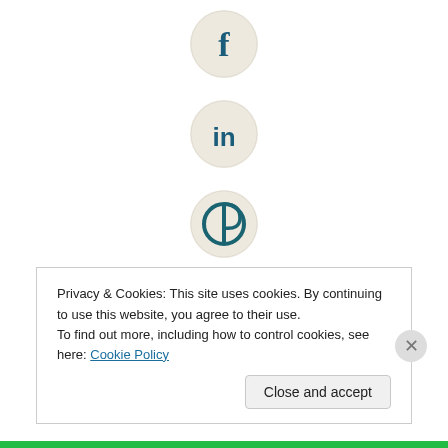[Figure (logo): Facebook circular icon with teal/dark blue 'f' on beige background]
[Figure (logo): LinkedIn circular icon with teal 'in' on beige background]
[Figure (logo): Pinterest circular icon with teal 'P' pin logo on beige background]
[Figure (logo): Goodreads/Amazon circular icon with teal 'a' on beige background]
Privacy & Cookies: This site uses cookies. By continuing to use this website, you agree to their use.
To find out more, including how to control cookies, see here: Cookie Policy
Close and accept